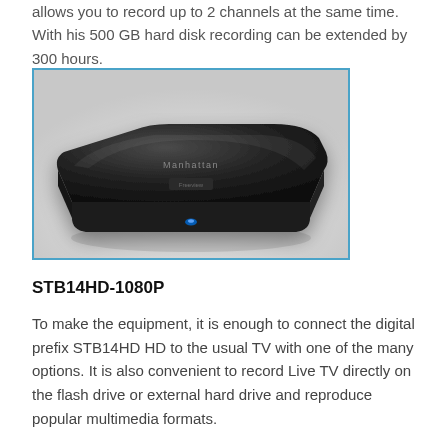allows you to record up to 2 channels at the same time. With his 500 GB hard disk recording can be extended by 300 hours.
[Figure (photo): A sleek black Manhattan set-top box with blue LED indicator light, viewed from a slight angle above, with the Manhattan logo on top.]
STB14HD-1080P
To make the equipment, it is enough to connect the digital prefix STB14HD HD to the usual TV with one of the many options. It is also convenient to record Live TV directly on the flash drive or external hard drive and reproduce popular multimedia formats.